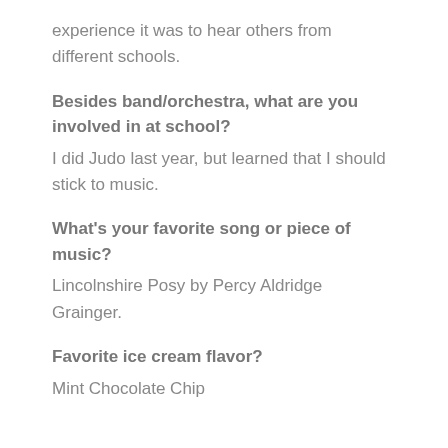experience it was to hear others from different schools.
Besides band/orchestra, what are you involved in at school?
I did Judo last year, but learned that I should stick to music.
What's your favorite song or piece of music?
Lincolnshire Posy by Percy Aldridge Grainger.
Favorite ice cream flavor?
Mint Chocolate Chip